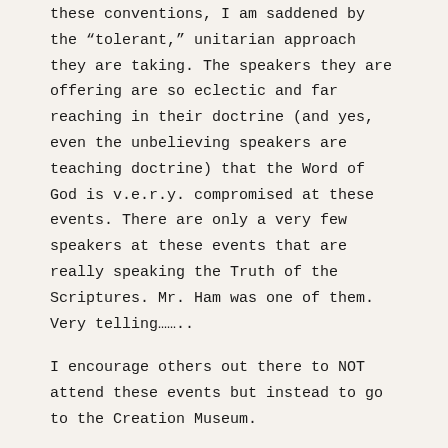these conventions, I am saddened by the “tolerant,” unitarian approach they are taking. The speakers they are offering are so eclectic and far reaching in their doctrine (and yes, even the unbelieving speakers are teaching doctrine) that the Word of God is v.e.r.y. compromised at these events. There are only a very few speakers at these events that are really speaking the Truth of the Scriptures. Mr. Ham was one of them. Very telling.........
I encourage others out there to NOT attend these events but instead to go to the Creation Museum.